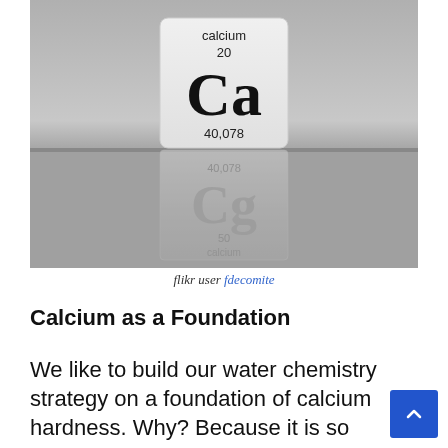[Figure (photo): 3D rendered periodic table tile for Calcium (Ca), atomic number 20, atomic weight 40.078, shown as a physical block with its reflection below on a gray surface.]
flikr user fdecomite
Calcium as a Foundation
We like to build our water chemistry strategy on a foundation of calcium hardness. Why? Because it is so stable and reliable. The ideal calcium